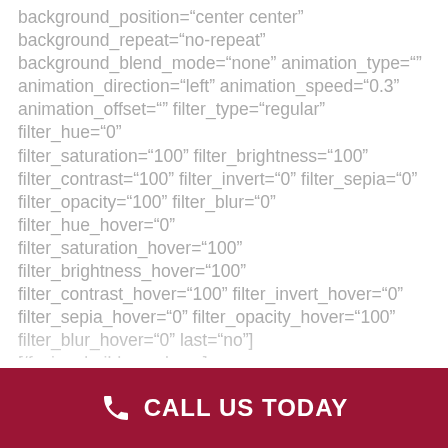background_position="center center" background_repeat="no-repeat" background_blend_mode="none" animation_type="" animation_direction="left" animation_speed="0.3" animation_offset="" filter_type="regular" filter_hue="0" filter_saturation="100" filter_brightness="100" filter_contrast="100" filter_invert="0" filter_sepia="0" filter_opacity="100" filter_blur="0" filter_hue_hover="0" filter_saturation_hover="100" filter_brightness_hover="100" filter_contrast_hover="100" filter_invert_hover="0" filter_sepia_hover="0" filter_opacity_hover="100" filter_blur_hover="0" last="no"][/fusion_builder_column] [/fusion_builder_row][/fusion_builder_container]
CALL US TODAY